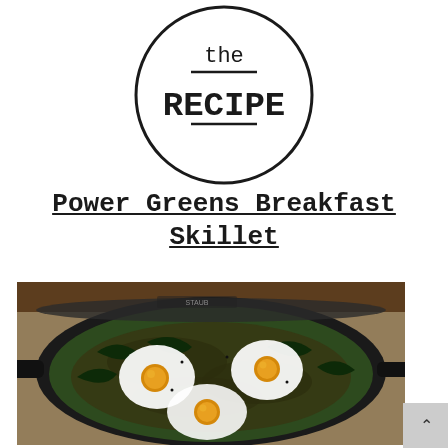[Figure (logo): Circular logo with text 'the RECIPE' inside, with a horizontal line beneath 'the' and above 'RECIPE', black border circle on white background]
Power Greens Breakfast Skillet
[Figure (photo): A black cast iron skillet containing eggs baked on a bed of wilted power greens (spinach/kale) and sautéed ingredients. Three eggs are visible with cooked whites and golden yolks, garnished with black pepper. The skillet is on a wooden surface with a linen cloth.]